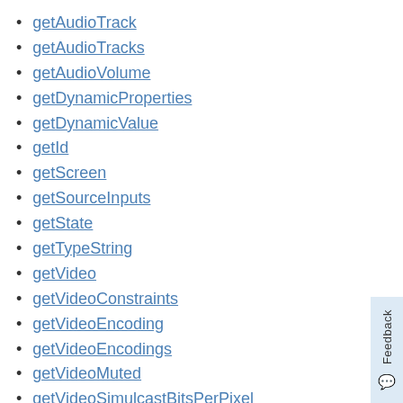getAudioTrack
getAudioTracks
getAudioVolume
getDynamicProperties
getDynamicValue
getId
getScreen
getSourceInputs
getState
getTypeString
getVideo
getVideoConstraints
getVideoEncoding
getVideoEncodings
getVideoMuted
getVideoSimulcastBitsPerPixel
getVideoSimulcastDegradationPreferen